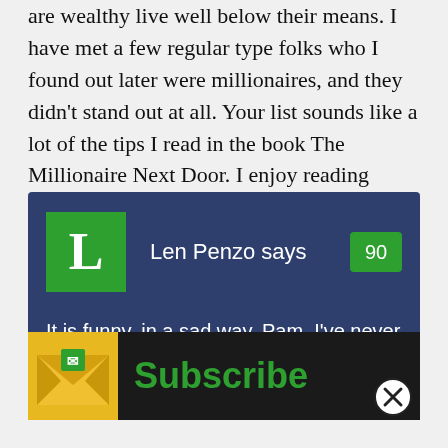are wealthy live well below their means. I have met a few regular type folks who I found out later were millionaires, and they didn't stand out at all. Your list sounds like a lot of the tips I read in the book The Millionaire Next Door. I enjoy reading about successful people who don't flaunt their wealth. Thanks for putting together this list of tips.
Len Penzo says
It is funny, in a sad way, Pam. I've never read the Millionaire Next Door, but the
[Figure (infographic): Subscribe banner overlay with envelope icon and 'Subscribe' text in green on dark background, with a close (X) button]